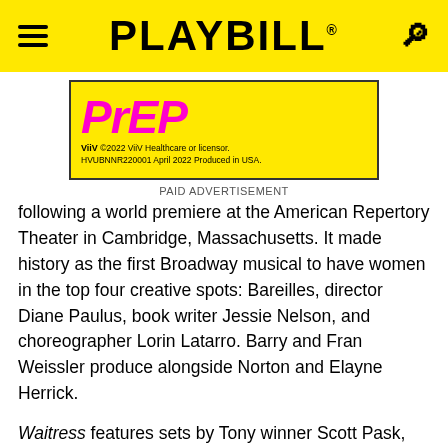PLAYBILL
[Figure (other): PrEP advertisement banner on yellow background with pink/magenta PrEP logo and ViiV Healthcare copyright text: ©2022 ViiV Healthcare or licensor. HVUBNNR220001 April 2022 Produced in USA.]
PAID ADVERTISEMENT
following a world premiere at the American Repertory Theater in Cambridge, Massachusetts. It made history as the first Broadway musical to have women in the top four creative spots: Bareilles, director Diane Paulus, book writer Jessie Nelson, and choreographer Lorin Latarro. Barry and Fran Weissler produce alongside Norton and Elayne Herrick.
Waitress features sets by Tony winner Scott Pask, costumes by Suttirat Anne Larlarb, lighting by Tony winner Christopher Akerlind, and sound by Tony nominee Jonathan Deans. The music supervisor is Nadia DiGiallonardo. Casting is by Telsey + Company.